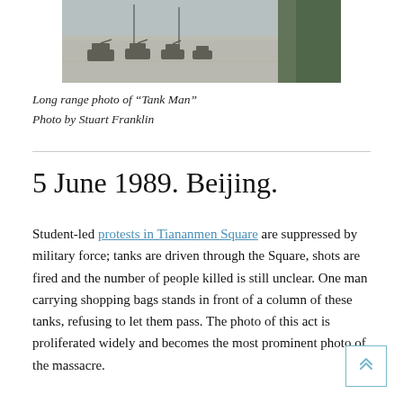[Figure (photo): Long range photo of 'Tank Man' — tanks lined up on a wide avenue in Tiananmen Square, trees on the right side, hazy sky.]
Long range photo of “Tank Man”
Photo by Stuart Franklin
5 June 1989. Beijing.
Student-led protests in Tiananmen Square are suppressed by military force; tanks are driven through the Square, shots are fired and the number of people killed is still unclear. One man carrying shopping bags stands in front of a column of these tanks, refusing to let them pass. The photo of this act is proliferated widely and becomes the most prominent photo of the massacre.